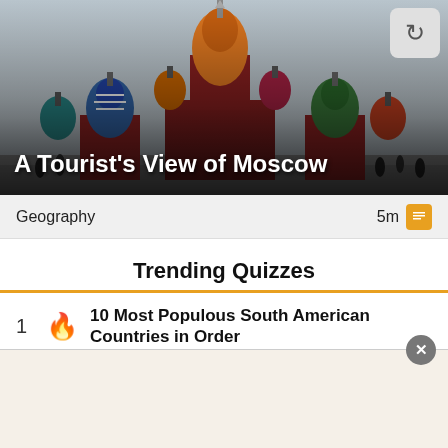[Figure (photo): Photo of Saint Basil's Cathedral in Moscow (Red Square) with colorful onion domes, overlaid with a dark gradient at the bottom. A circular refresh/reload icon button appears in the top-right corner.]
A Tourist's View of Moscow
Geography    5m
Trending Quizzes
1  10 Most Populous South American Countries in Order
[Figure (other): Advertisement banner with close (X) button overlay at the bottom of the page]